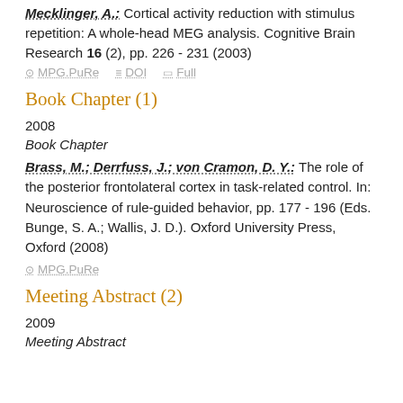Mecklinger, A.: Cortical activity reduction with stimulus repetition: A whole-head MEG analysis. Cognitive Brain Research 16 (2), pp. 226 - 231 (2003)
MPG.PuRe  DOI  Full
Book Chapter (1)
2008
Book Chapter
Brass, M.; Derrfuss, J.; von Cramon, D. Y.: The role of the posterior frontolateral cortex in task-related control. In: Neuroscience of rule-guided behavior, pp. 177 - 196 (Eds. Bunge, S. A.; Wallis, J. D.). Oxford University Press, Oxford (2008)
MPG.PuRe
Meeting Abstract (2)
2009
Meeting Abstract